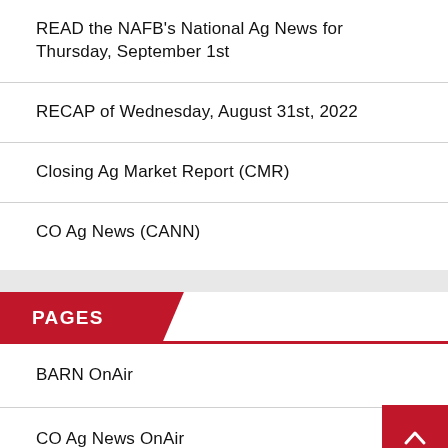READ the NAFB’s National Ag News for Thursday, September 1st
RECAP of Wednesday, August 31st, 2022
Closing Ag Market Report (CMR)
CO Ag News (CANN)
PAGES
BARN OnAir
CO Ag News OnAir